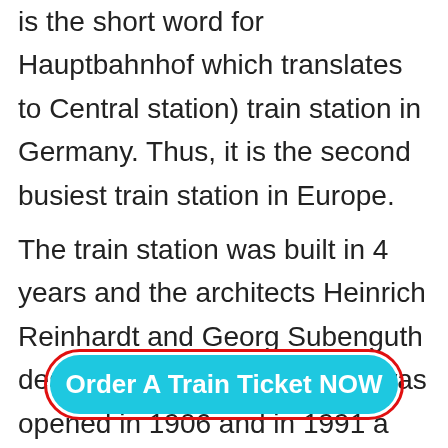is the short word for Hauptbahnhof which translates to Central station) train station in Germany. Thus, it is the second busiest train station in Europe.
The train station was built in 4 years and the architects Heinrich Reinhardt and Georg Subenguth designed it. The train station was opened in 1906 and in 1991 a shopping center was added to the northern bridge, where there
[Figure (other): A cyan/teal rounded button with red border outline reading 'Order A Train Ticket NOW' in bold white text]
pharmacy, and service centers.